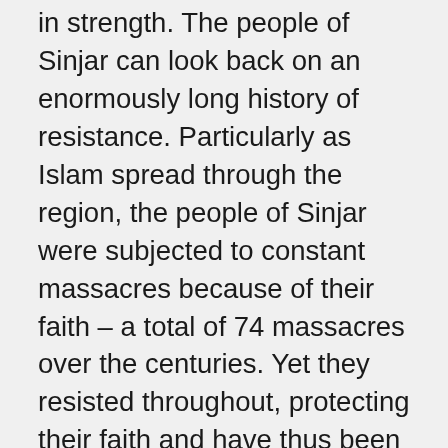in strength. The people of Sinjar can look back on an enormously long history of resistance. Particularly as Islam spread through the region, the people of Sinjar were subjected to constant massacres because of their faith – a total of 74 massacres over the centuries. Yet they resisted throughout, protecting their faith and have thus been able to keep it alive to this day. Although they were continuously oppressed, discriminated against, and isolated, the Ezidis did not give up their faith. United in their common faith, they developed a culture of permanent resistance. Most recently, they were attacked by IS gangs in 2014. Thousands of Ezidis were murdered or sold as slaves to Turkey and other countries. Hundreds